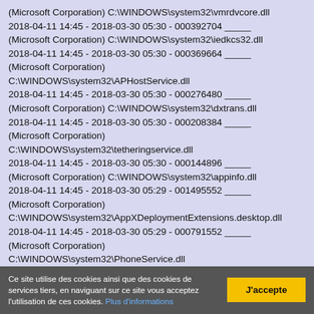(Microsoft Corporation) C:\WINDOWS\system32\vmrdvcore.dll
2018-04-11 14:45 - 2018-03-30 05:30 - 000392704 _____
(Microsoft Corporation) C:\WINDOWS\system32\iedkcs32.dll
2018-04-11 14:45 - 2018-03-30 05:30 - 000369664 _____
(Microsoft Corporation)
C:\WINDOWS\system32\APHostService.dll
2018-04-11 14:45 - 2018-03-30 05:30 - 000276480 _____
(Microsoft Corporation) C:\WINDOWS\system32\dxtrans.dll
2018-04-11 14:45 - 2018-03-30 05:30 - 000208384 _____
(Microsoft Corporation)
C:\WINDOWS\system32\tetheringservice.dll
2018-04-11 14:45 - 2018-03-30 05:30 - 000144896 _____
(Microsoft Corporation) C:\WINDOWS\system32\appinfo.dll
2018-04-11 14:45 - 2018-03-30 05:29 - 001495552 _____
(Microsoft Corporation)
C:\WINDOWS\system32\AppXDeploymentExtensions.desktop.dll
2018-04-11 14:45 - 2018-03-30 05:29 - 000791552 _____
(Microsoft Corporation)
C:\WINDOWS\system32\PhoneService.dll
Ce site utilise des cookies ainsi que des cookies de services tiers, en naviguant sur ce site vous acceptez l'utilisation de ces cookies. Plus d'informations